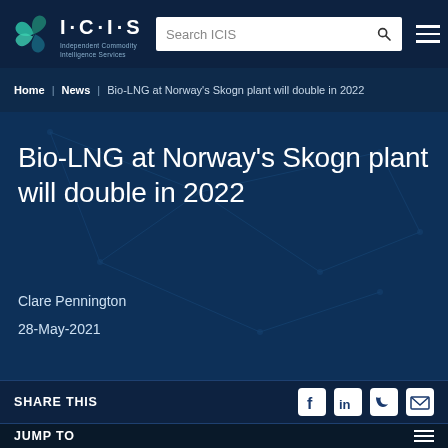[Figure (logo): ICIS Independent Commodity Intelligence Services logo with teal/green swirl graphic]
Search ICIS [search bar] [hamburger menu]
Home | News | Bio-LNG at Norway's Skogn plant will double in 2022
Bio-LNG at Norway's Skogn plant will double in 2022
Clare Pennington
28-May-2021
SHARE THIS
JUMP TO